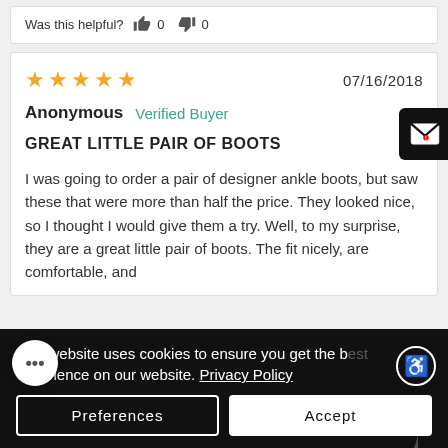Was this helpful? 👍 0 👎 0
★★★★★  07/16/2018
Anonymous  Verified Buyer
GREAT LITTLE PAIR OF BOOTS
I was going to order a pair of designer ankle boots, but saw these that were more than half the price. They looked nice, so I thought I would give them a try. Well, to my surprise, they are a great little pair of boots. The fit nicely, are comfortable, and
This website uses cookies to ensure you get the best experience on our website. Privacy Policy
Preferences
Accept